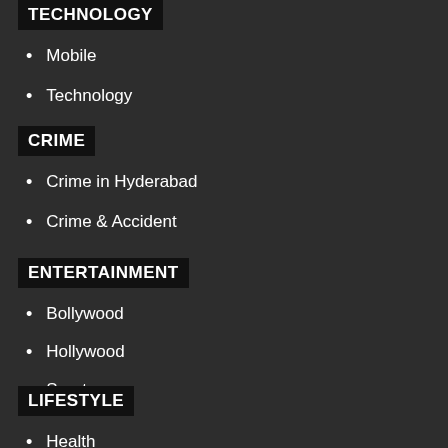TECHNOLOGY
Mobile
Technology
CRIME
Crime in Hyderabad
Crime & Accident
ENTERTAINMENT
Bollywood
Hollywood
Sports
LIFESTYLE
Health